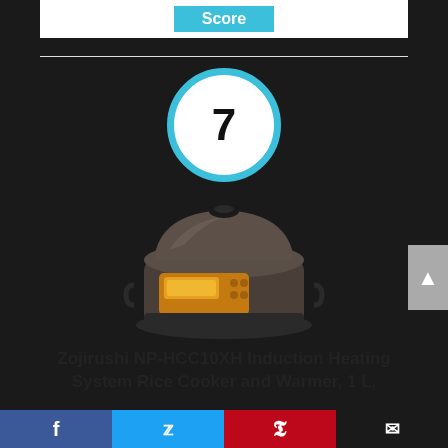Score
[Figure (infographic): Score badge: circle with the number 7 inside, outlined in cyan/blue color]
[Figure (photo): Zojirushi NP-HCC10XH rice cooker product photo - dark stainless steel rice cooker with orange control panel display]
Zojirushi NP-HCC10XH Induction Heating System Rice Cooker and Warmer, 1 L,